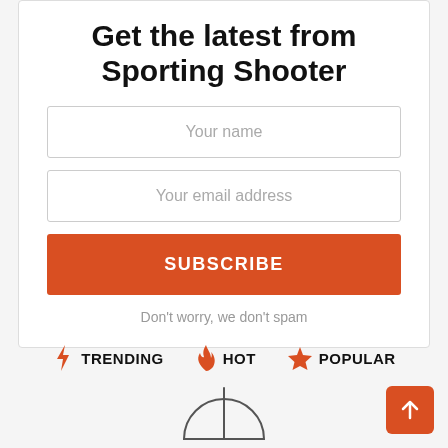Get the latest from Sporting Shooter
Your name
Your email address
SUBSCRIBE
Don't worry, we don't spam
TRENDING
HOT
POPULAR
[Figure (illustration): Back to top arrow button, orange square with white upward arrow]